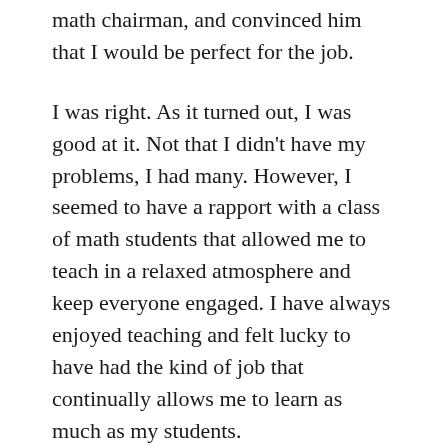math chairman, and convinced him that I would be perfect for the job.
I was right. As it turned out, I was good at it. Not that I didn't have my problems, I had many. However, I seemed to have a rapport with a class of math students that allowed me to teach in a relaxed atmosphere and keep everyone engaged. I have always enjoyed teaching and felt lucky to have had the kind of job that continually allows me to learn as much as my students.
But I work hard at teaching. More than most, I think, but it may be that every teacher thinks that. I know there are alot of people who look